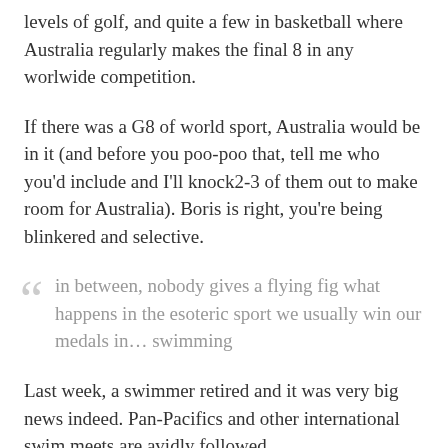levels of golf, and quite a few in basketball where Australia regularly makes the final 8 in any worlwide competition.
If there was a G8 of world sport, Australia would be in it (and before you poo-poo that, tell me who you'd include and I'll knock2-3 of them out to make room for Australia). Boris is right, you're being blinkered and selective.
in between, nobody gives a flying fig what happens in the esoteric sport we usually win our medals in... swimming
Last week, a swimmer retired and it was very big news indeed. Pan-Pacifics and other international swim meets are avidly followed